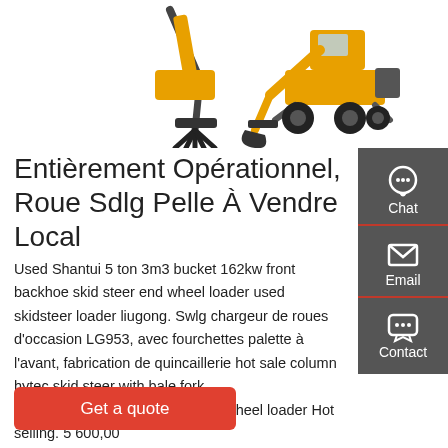[Figure (photo): Two construction machines: a yellow excavator with a claw/grapple attachment on the left, and a yellow wheeled excavator on the right, on a white background.]
Entièrement Opérationnel, Roue Sdlg Pelle À Vendre Local
Used Shantui 5 ton 3m3 bucket 162kw front backhoe skid steer end wheel loader used skidsteer loader liugong. Swlg chargeur de roues d'occasion LG953, avec fourchettes palette à l'avant, fabrication de quincaillerie hot sale column hytec skid steer with bale fork 0.3/0.54/0.4/0.96CBM sdlg l956f wheel loader Hot selling. 5 600,00
[Figure (infographic): Dark grey sidebar with three contact options: Chat (headset icon), Email (envelope icon), Contact (chat bubble icon), each separated by a red line.]
Get a quote